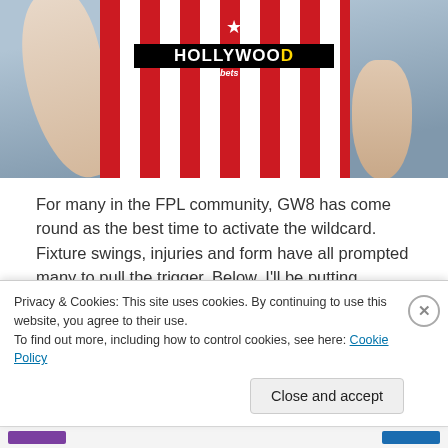[Figure (photo): A footballer wearing a red and white striped Brentford jersey with HOLLYWOODBETS sponsor, running. Cropped torso view.]
For many in the FPL community, GW8 has come round as the best time to activate the wildcard. Fixture swings, injuries and form have all prompted many to pull the trigger. Below, I'll be putting together a draft that I would pick if I were on wildcard this week.
October 12, 2021   0
Privacy & Cookies: This site uses cookies. By continuing to use this website, you agree to their use.
To find out more, including how to control cookies, see here: Cookie Policy
Close and accept